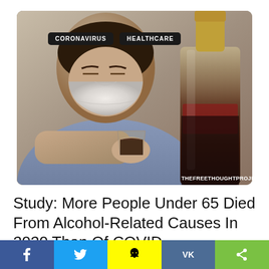[Figure (photo): A man wearing a white face mask, resting his head on his arm at a table, holding a glass of dark liquor, with a large liquor bottle in the foreground. Watermark: THEFREETHOUGHTPROJECT]
CORONAVIRUS
HEALTHCARE
Study: More People Under 65 Died From Alcohol-Related Causes In 2020 Than Of COVID
f  (Twitter bird)  (Snapchat ghost)  VK  (Share icon)